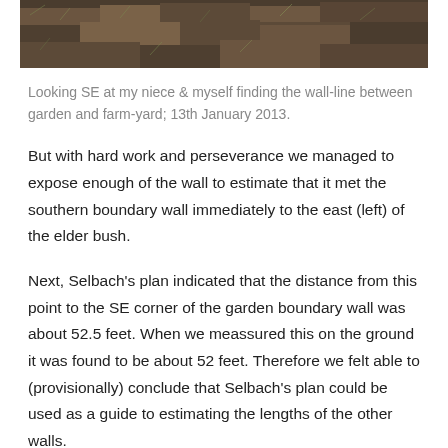[Figure (photo): Photograph strip showing a garden or field area with grass and ground cover, looking SE at the wall-line between garden and farm-yard.]
Looking SE at my niece & myself finding the wall-line between garden and farm-yard; 13th January 2013.
But with hard work and perseverance we managed to expose enough of the wall to estimate that it met the southern boundary wall immediately to the east (left) of the elder bush.
Next, Selbach's plan indicated that the distance from this point to the SE corner of the garden boundary wall was about 52.5 feet. When we meassured this on the ground it was found to be about 52 feet. Therefore we felt able to (provisionally) conclude that Selbach's plan could be used as a guide to estimating the lengths of the other walls.
Just before we left I quickly measured the distance